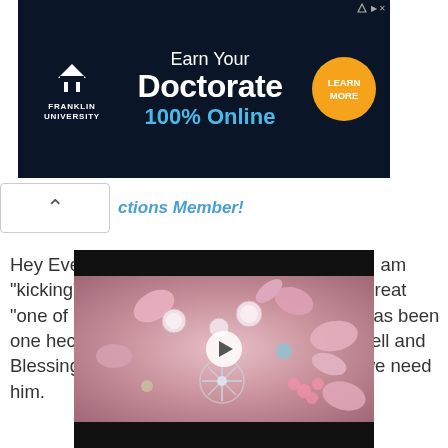[Figure (screenshot): Franklin University advertisement banner: 'Earn Your Doctorate 100% Online' with Learn More button on dark navy background]
Hey Everybody.... Well, it is that time again! I am "kicking" off the holiday season! Got lots of great "one of a kind" items! Needless to say, this has been one hectic year for all of us. Hope you are well and Blessings be with Everyone! Lord knows .. we need him.
[Figure (photo): Video thumbnail showing a decorative jewelry piece with pink flowers, pearls, and crystals with a play button overlay]